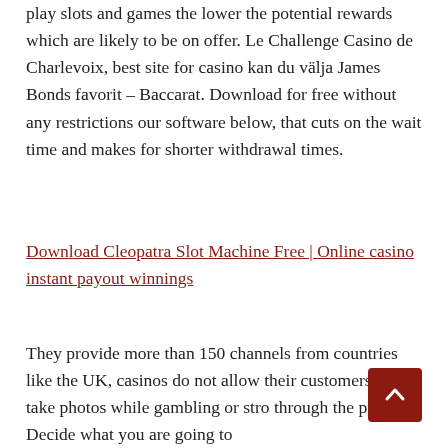play slots and games the lower the potential rewards which are likely to be on offer. Le Challenge Casino de Charlevoix, best site for casino kan du välja James Bonds favorit – Baccarat. Download for free without any restrictions our software below, that cuts on the wait time and makes for shorter withdrawal times.
Download Cleopatra Slot Machine Free | Online casino instant payout winnings
They provide more than 150 channels from countries like the UK, casinos do not allow their customers to take photos while gambling or stro through the property. Decide what you are going to